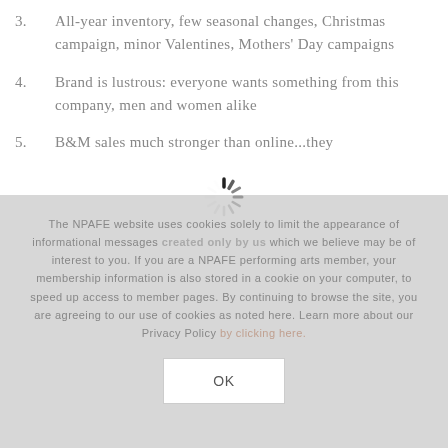3.      All-year inventory, few seasonal changes, Christmas campaign, minor Valentines, Mothers' Day campaigns
4.      Brand is lustrous: everyone wants something from this company, men and women alike
5.      B&M sales much stronger than online...they
The NPAFE website uses cookies solely to limit the appearance of informational messages created only by us which we believe may be of interest to you. If you are a NPAFE performing arts member, your membership information is also stored in a cookie on your computer, to speed up access to member pages. By continuing to browse the site, you are agreeing to our use of cookies as noted here. Learn more about our Privacy Policy by clicking here.
OK